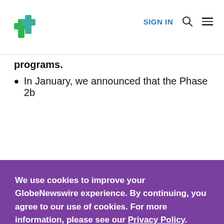SIGN IN [search] [menu]
programs.
In January, we announced that the Phase 2b
We use cookies to improve your GlobeNewswire experience. By continuing, you agree to our use of cookies. For more information, please see our Privacy Policy.
ACCEPT